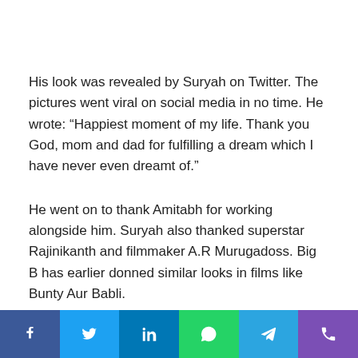His look was revealed by Suryah on Twitter. The pictures went viral on social media in no time. He wrote: “Happiest moment of my life. Thank you God, mom and dad for fulfilling a dream which I have never even dreamt of.”
He went on to thank Amitabh for working alongside him. Suryah also thanked superstar Rajinikanth and filmmaker A.R Murugadoss. Big B has earlier donned similar looks in films like Bunty Aur Babli.